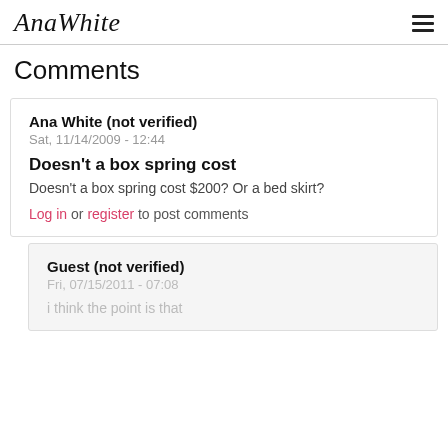AnaWhite
Comments
Ana White (not verified)
Sat, 11/14/2009 - 12:44
Doesn't a box spring cost
Doesn't a box spring cost $200? Or a bed skirt?
Log in or register to post comments
Guest (not verified)
Fri, 07/15/2011 - 07:08
I think the point is that